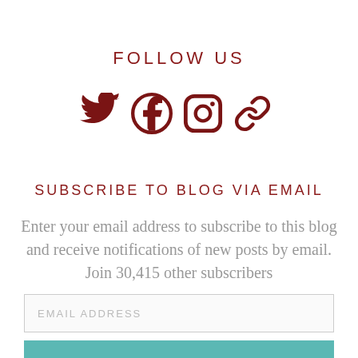FOLLOW US
[Figure (illustration): Four social media icons in dark red: Twitter bird, Facebook circle, Instagram camera, and a chain/link icon]
SUBSCRIBE TO BLOG VIA EMAIL
Enter your email address to subscribe to this blog and receive notifications of new posts by email.
Join 30,415 other subscribers
EMAIL ADDRESS